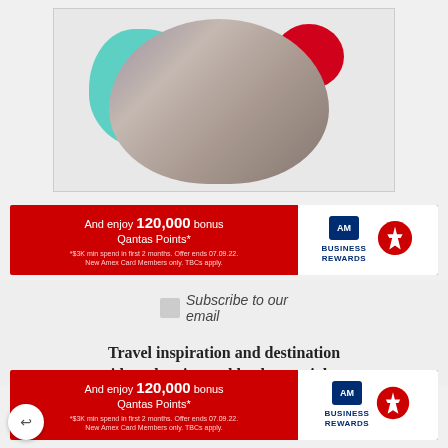[Figure (photo): Promotional image with two people (older couple) in an oval/blob-shaped cutout, with teal blob shape on left and red circle on right, on light grey background]
[Figure (infographic): American Express Business Rewards banner ad: red background, text 'And enjoy 120,000 bonus Qantas Points*', fine print '*$3K min spend in first 2 months. Offer ends 07.09.22. New Amex Card Members only. TBCs apply.', with Amex and Qantas Business Rewards logos on white right panel]
[Figure (infographic): Subscribe to our email section with envelope icon and text 'Subscribe to our email']
Travel inspiration and destination guides, plus tips and hacks, straight to
[Figure (infographic): American Express Business Rewards banner ad (duplicate/sticky): red background, text 'And enjoy 120,000 bonus Qantas Points*', fine print '*$3K min spend in first 2 months. Offer ends 07.09.22. New Amex Card Members only. TBCs apply.', with Amex and Qantas Business Rewards logos on white right panel]